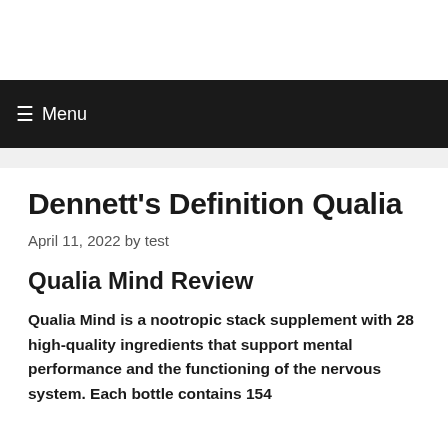Menu
Dennett's Definition Qualia
April 11, 2022 by test
Qualia Mind Review
Qualia Mind is a nootropic stack supplement with 28 high-quality ingredients that support mental performance and the functioning of the nervous system. Each bottle contains 154